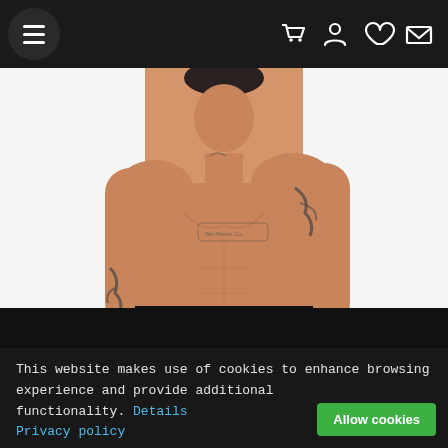Navigation bar with hamburger menu and icons: cart, user, heart, envelope
[Figure (photo): Shirtless muscular man with tattoos on arms, chest, and neck, standing against white background]
This website makes use of cookies to enhance browsing experience and provide additional functionality. Details Privacy policy
Allow cookies